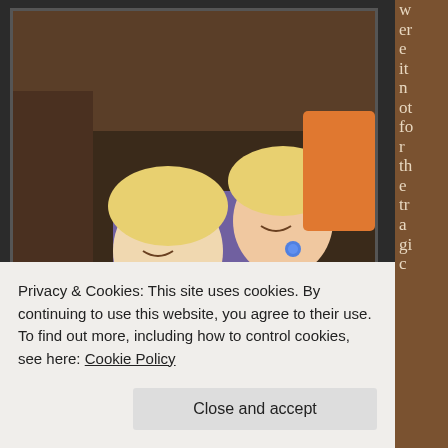[Figure (photo): Two young children sleeping together on a couch, holding hands, surrounded by stuffed animals and blankets. One child has a pacifier.]
My Sleeping Angels - Holding Hands
w er e it n ot fo r th e tr a gi c
Privacy & Cookies: This site uses cookies. By continuing to use this website, you agree to their use.
To find out more, including how to control cookies, see here: Cookie Policy
Close and accept